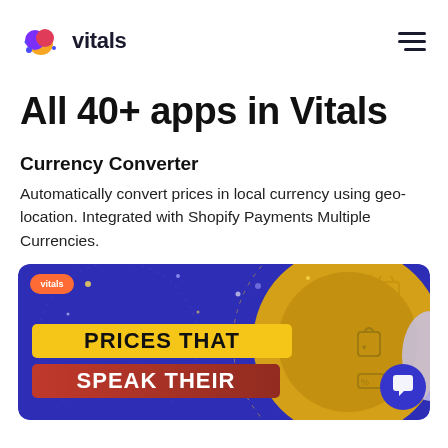vitals
All 40+ apps in Vitals
Currency Converter
Automatically convert prices in local currency using geo-location. Integrated with Shopify Payments Multiple Currencies.
[Figure (illustration): Promotional banner image with blue and gold background showing a cart/shopping icons and the text 'PRICES THAT SPEAK THEIR' with a currency converter visual theme. Vitals logo in top-left corner. A circular chat icon in bottom-right.]